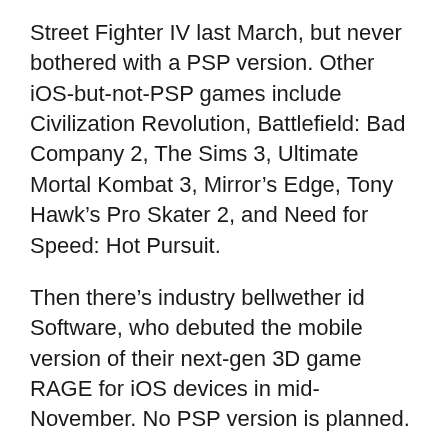Street Fighter IV last March, but never bothered with a PSP version. Other iOS-but-not-PSP games include Civilization Revolution, Battlefield: Bad Company 2, The Sims 3, Ultimate Mortal Kombat 3, Mirror's Edge, Tony Hawk's Pro Skater 2, and Need for Speed: Hot Pursuit.
Then there's industry bellwether id Software, who debuted the mobile version of their next-gen 3D game RAGE for iOS devices in mid-November. No PSP version is planned.
And don't forget iPhone “core” exclusives like Dungeon Defenders, Perfect Cell, Dead Space, Secret of Mana, Infinity Blade, Aralon: Sword and Shadow, and Real Racing 2. There’s more buzz around those games than anything in the offing for the PSP.